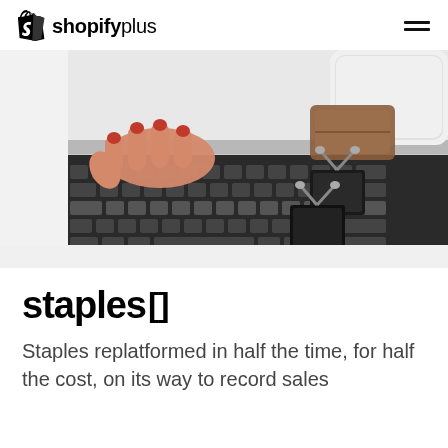shopify plus
[Figure (photo): Overhead photo of a person with red nails typing on a laptop keyboard, with a smartphone, brown leather wallet, and two black binder clips on a white surface]
staples[]
Staples replatformed in half the time, for half the cost, on its way to record sales